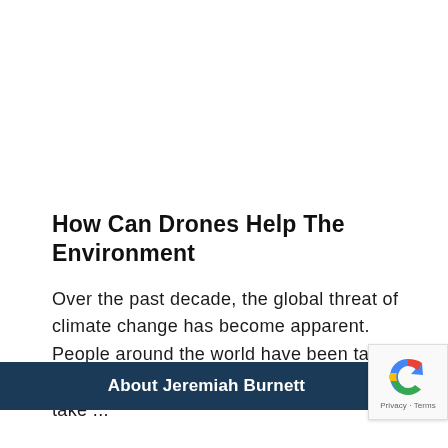How Can Drones Help The Environment
Over the past decade, the global threat of climate change has become apparent. People around the world have been taking steps to minimize their carbon footprint and take ...
About Jeremiah Burnett